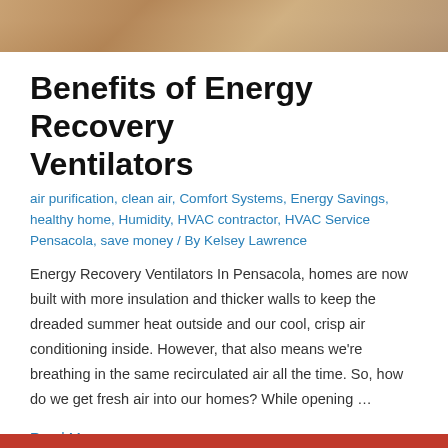[Figure (photo): Hero image showing a person, partially visible at the top of the page, with warm brown tones.]
Benefits of Energy Recovery Ventilators
air purification, clean air, Comfort Systems, Energy Savings, healthy home, Humidity, HVAC contractor, HVAC Service Pensacola, save money / By Kelsey Lawrence
Energy Recovery Ventilators In Pensacola, homes are now built with more insulation and thicker walls to keep the dreaded summer heat outside and our cool, crisp air conditioning inside. However, that also means we're breathing in the same recirculated air all the time. So, how do we get fresh air into our homes? While opening …
Read More »